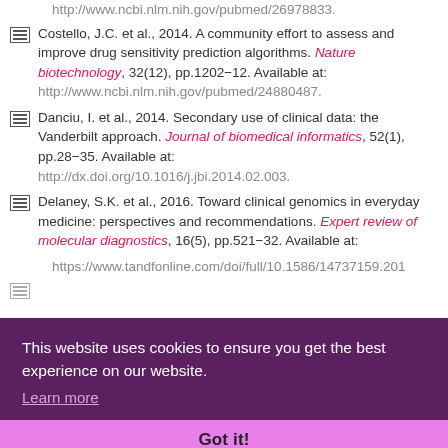http://www.ncbi.nlm.nih.gov/pubmed/26978833.
Costello, J.C. et al., 2014. A community effort to assess and improve drug sensitivity prediction algorithms. Nature biotechnology, 32(12), pp.1202-12. Available at: http://www.ncbi.nlm.nih.gov/pubmed/24880487.
Danciu, I. et al., 2014. Secondary use of clinical data: the Vanderbilt approach. Journal of biomedical informatics, 52(1), pp.28-35. Available at: http://dx.doi.org/10.1016/j.jbi.2014.02.003.
Delaney, S.K. et al., 2016. Toward clinical genomics in everyday medicine: perspectives and recommendations. Expert review of molecular diagnostics, 16(5), pp.521-32. Available at: https://www.tandfonline.com/doi/full/10.1586/14737159.201...
Available at:
[Figure (screenshot): Cookie consent banner overlay with purple background reading 'This website uses cookies to ensure you get the best experience on our website.' with 'Learn more' link and 'Got it!' button in pink bar.]